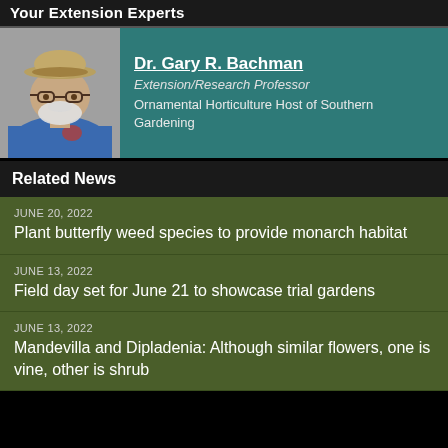Your Extension Experts
Dr. Gary R. Bachman
Extension/Research Professor
Ornamental Horticulture Host of Southern Gardening
Related News
JUNE 20, 2022
Plant butterfly weed species to provide monarch habitat
JUNE 13, 2022
Field day set for June 21 to showcase trial gardens
JUNE 13, 2022
Mandevilla and Dipladenia: Although similar flowers, one is vine, other is shrub